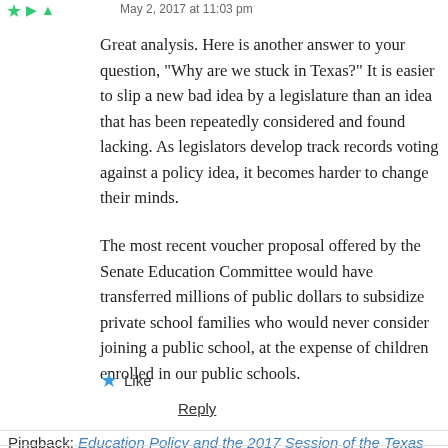May 2, 2017 at 11:03 pm
Great analysis. Here is another answer to your question, "Why are we stuck in Texas?" It is easier to slip a new bad idea by a legislature than an idea that has been repeatedly considered and found lacking. As legislators develop track records voting against a policy idea, it becomes harder to change their minds.
The most recent voucher proposal offered by the Senate Education Committee would have transferred millions of public dollars to subsidize private school families who would never consider joining a public school, at the expense of children enrolled in our public schools.
Like
Reply
Pingback: Education Policy and the 2017 Session of the Texas Legislature